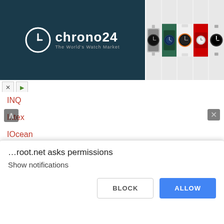[Figure (screenshot): Chrono24 watch marketplace advertisement banner with logo and watch images]
…erience on our website. If you continue to use this site we will assume that you are happy with it.
Ok, good
INQ
Intex
IOcean
iQIYI
IOM
…root.net asks permissions
Show notifications
BLOCK
ALLOW